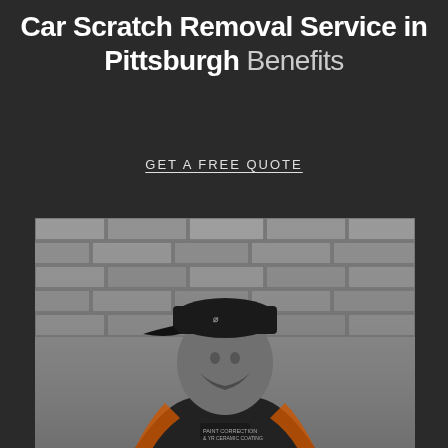Car Scratch Removal Service in Pittsburgh Benefits
GET A FREE QUOTE
[Figure (photo): A man wearing a black Under Armour cap and a black polo shirt with orange accents and 'Paint Correction & Ceramic Coating' logo, standing in front of a brick wall background. The photo is in black and white/grayscale tones.]